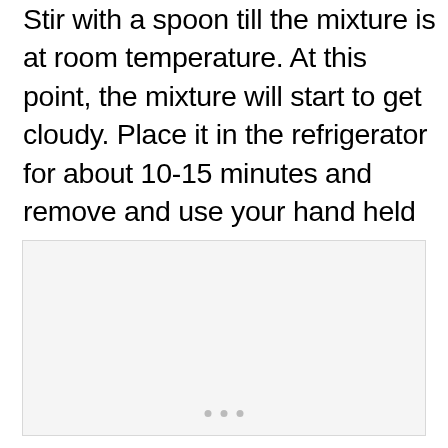Stir with a spoon till the mixture is at room temperature. At this point, the mixture will start to get cloudy. Place it in the refrigerator for about 10-15 minutes and remove and use your hand held mixer on it. As you whisk, the cloudy mixture of plant butters, waxes and oils will start to take on a frothy, creamy look.
[Figure (photo): A light gray placeholder image box with three small gray dots at the bottom center, indicating an image carousel or media placeholder.]